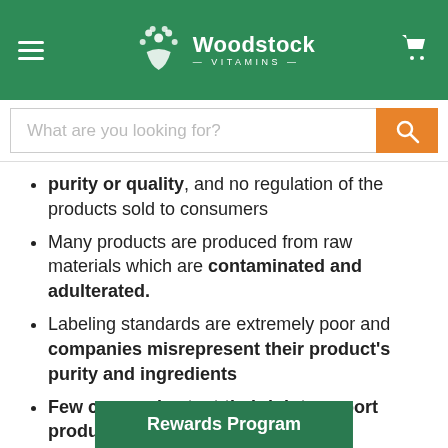Woodstock Vitamins
What are you looking for?
purity or quality, and no regulation of the products sold to consumers
Many products are produced from raw materials which are contaminated and adulterated.
Labeling standards are extremely poor and companies misrepresent their product's purity and ingredients
Few companies test their joint support products to eliminate heavy metals, p... and other
Rewards Program